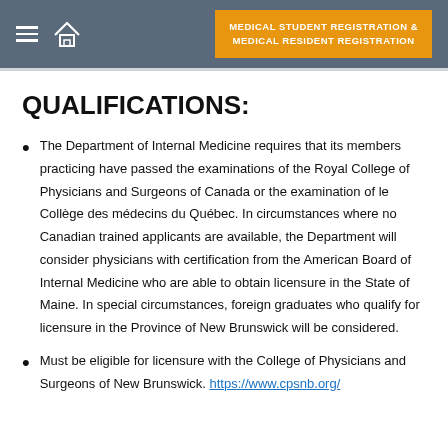MEDICAL STUDENT REGISTRATION & MEDICAL RESIDENT REGISTRATION
QUALIFICATIONS:
The Department of Internal Medicine requires that its members practicing have passed the examinations of the Royal College of Physicians and Surgeons of Canada or the examination of le Collège des médecins du Québec.  In circumstances where no Canadian trained applicants are available, the Department will consider physicians with certification from the American Board of Internal Medicine who are able to obtain licensure in the State of Maine.  In special circumstances, foreign graduates who qualify for licensure in the Province of New Brunswick will be considered.
Must be eligible for licensure with the College of Physicians and Surgeons of New Brunswick. https://www.cpsnb.org/